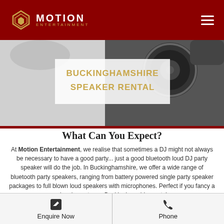MOTION ENTERTAINMENT
[Figure (photo): Close-up of a speaker with Motion Entertainment Buckinghamshire Speaker Rental text overlay]
BUCKINGHAMSHIRE SPEAKER RENTAL
What Can You Expect?
At Motion Entertainment, we realise that sometimes a DJ might not always be necessary to have a good party... just a good bluetooth loud DJ party speaker will do the job. In Buckinghamshire, we offer a wide range of bluetooth party speakers, ranging from battery powered single party speaker packages to full blown loud speakers with microphones. Perfect if you fancy a singalong at your Buckinghamshire party!
We provide great quality Buckinghamshire party sound systems which have the ability to fill any sized event room. Hire one of our single speaker systems for a nice chilled Buckinghamshire garden party, or
Enquire Now | Phone